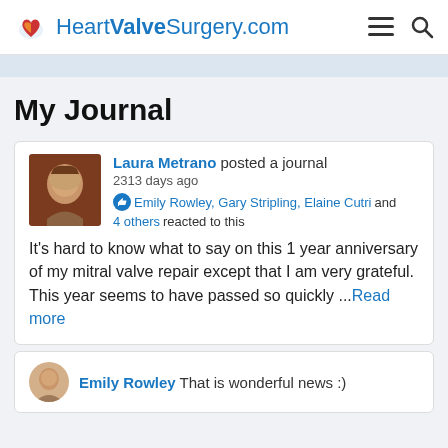HeartValveSurgery.com
My Journal
Laura Metrano posted a journal
2313 days ago
Emily Rowley, Gary Stripling, Elaine Cutri and 4 others reacted to this

It's hard to know what to say on this 1 year anniversary of my mitral valve repair except that I am very grateful. This year seems to have passed so quickly ...Read more
Emily Rowley That is wonderful news :)